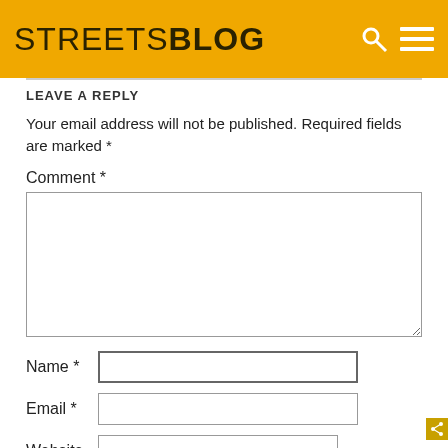STREETSBLOG
LEAVE A REPLY
Your email address will not be published. Required fields are marked *
Comment *
Name *
Email *
Website
Save my name, email, and website in this browser for the next time I comment.